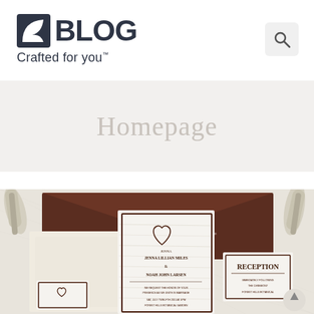BLOG Crafted for you™
Homepage
[Figure (photo): Wedding invitation suite displayed on a linen background, featuring kraft/chocolate brown envelopes, birch wood bark-textured invitation cards with carved heart motif and initials J+N, with cards reading 'JENNA LILLIAN MILES & NOAH JOHN LARSEN' and a 'RECEPTION' card, along with scattered birch twigs]